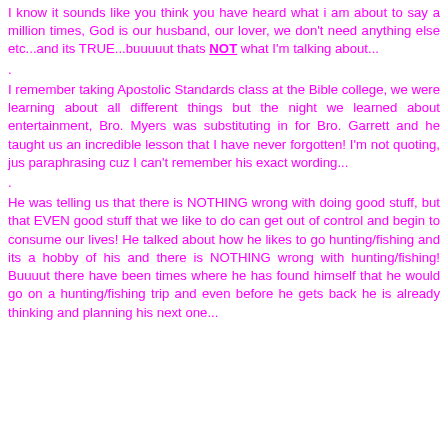I know it sounds like you think you have heard what i am about to say a million times, God is our husband, our lover, we don't need anything else etc...and its TRUE...buuuuut thats NOT what I'm talking about...
.
I remember taking Apostolic Standards class at the Bible college, we were learning about all different things but the night we learned about entertainment, Bro. Myers was substituting in for Bro. Garrett and he taught us an incredible lesson that I have never forgotten! I'm not quoting, jus paraphrasing cuz I can't remember his exact wording...
.
He was telling us that there is NOTHING wrong with doing good stuff, but that EVEN good stuff that we like to do can get out of control and begin to consume our lives! He talked about how he likes to go hunting/fishing and its a hobby of his and there is NOTHING wrong with hunting/fishing! Buuuut there have been times where he has found himself that he would go on a hunting/fishing trip and even before he gets back he is already thinking and planning his next one...